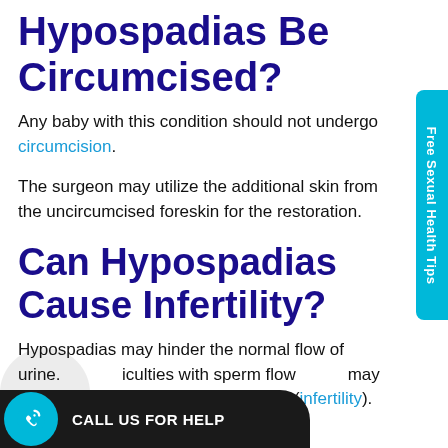Hypospadias Be Circumcised?
Any baby with this condition should not undergo circumcision.
The surgeon may utilize the additional skin from the uncircumcised foreskin for the restoration.
Can Hypospadias Cause Infertility?
Hypospadias may hinder the normal flow of urine. … difficulties with sperm flow … may result in the inability to bear children (infertility).